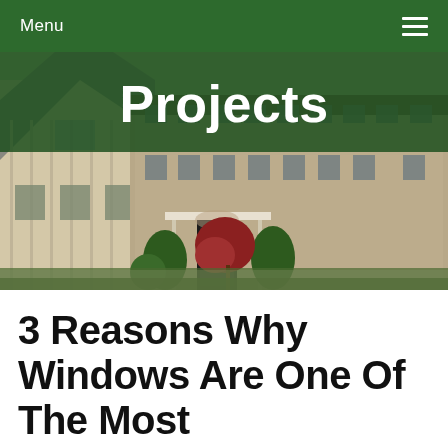Menu ≡
[Figure (photo): Exterior photo of a large stone and siding colonial-style house with landscaping including evergreen shrubs and red-leafed trees, viewed from the front driveway]
Projects
3 Reasons Why Windows Are One Of The Most Transformative Home